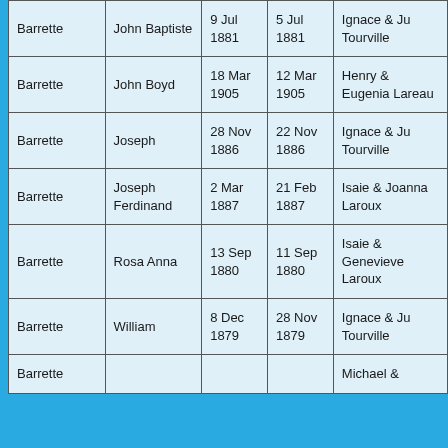| Surname | Given Name | Baptism Date | Birth Date | Parents |
| --- | --- | --- | --- | --- |
| Barrette | John Baptiste | 9 Jul 1881 | 5 Jul 1881 | Ignace & Ju Tourville |
| Barrette | John Boyd | 18 Mar 1905 | 12 Mar 1905 | Henry & Eugenia Lareau |
| Barrette | Joseph | 28 Nov 1886 | 22 Nov 1886 | Ignace & Ju Tourville |
| Barrette | Joseph Ferdinand | 2 Mar 1887 | 21 Feb 1887 | Isaie & Joanna Laroux |
| Barrette | Rosa Anna | 13 Sep 1880 | 11 Sep 1880 | Isaie & Genevieve Laroux |
| Barrette | William | 8 Dec 1879 | 28 Nov 1879 | Ignace & Ju Tourville |
| Barrette |  |  |  | Michael & |